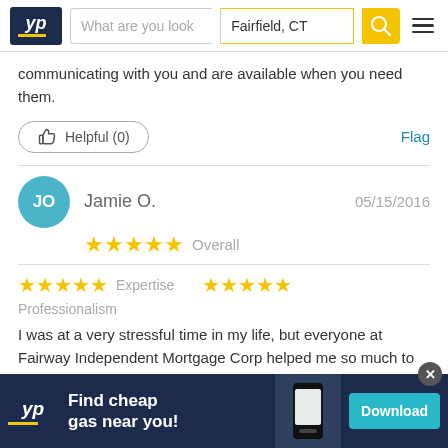YP | What are you look | Fairfield, CT
communicating with you and are available when you need them.
Helpful (0)   Flag
Jamie O.   05/15/2016   ★★★★★ Overall
★★★★★ Expertise   ★★★★★ Professionalism
I was at a very stressful time in my life, but everyone at Fairway Independent Mortgage Corp helped me so much to be sure my closing went through on time and successfully. I highly recommend them if you are the
[Figure (screenshot): YP app advertisement banner: Find cheap gas near you! Download button]